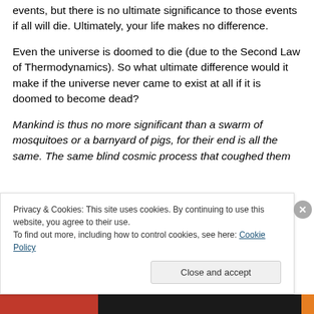events, but there is no ultimate significance to those events if all will die. Ultimately, your life makes no difference.
Even the universe is doomed to die (due to the Second Law of Thermodynamics). So what ultimate difference would it make if the universe never came to exist at all if it is doomed to become dead?
Mankind is thus no more significant than a swarm of mosquitoes or a barnyard of pigs, for their end is all the same. The same blind cosmic process that coughed them
Privacy & Cookies: This site uses cookies. By continuing to use this website, you agree to their use.
To find out more, including how to control cookies, see here: Cookie Policy
Close and accept